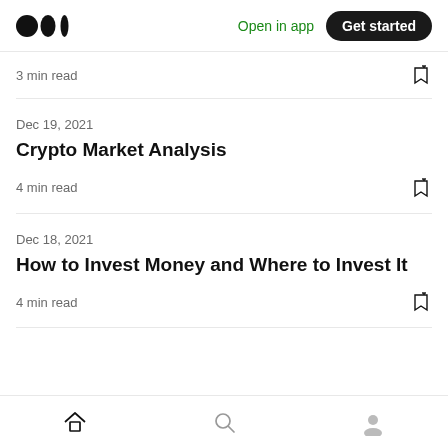Medium logo | Open in app | Get started
3 min read
Dec 19, 2021
Crypto Market Analysis
4 min read
Dec 18, 2021
How to Invest Money and Where to Invest It
4 min read
Home | Search | Profile